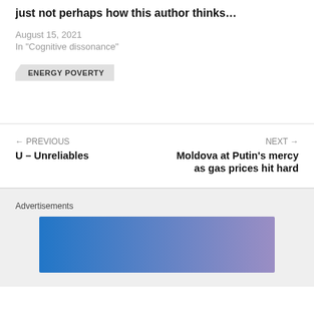just not perhaps how this author thinks…
August 15, 2021
In "Cognitive dissonance"
ENERGY POVERTY
← PREVIOUS
U – Unreliables
NEXT →
Moldova at Putin's mercy as gas prices hit hard
Advertisements
[Figure (other): Blue to purple gradient advertisement banner]